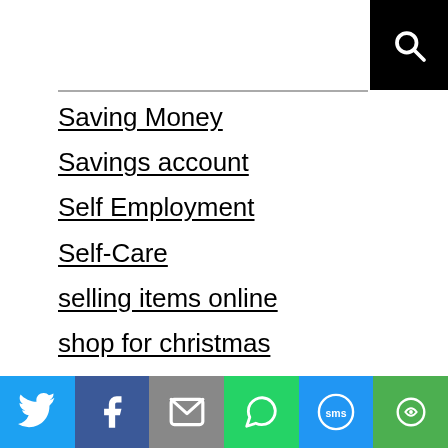Saving Money
Savings account
Self Employment
Self-Care
selling items online
shop for christmas
shopify
Shopping
Side Gigs
side hustle
Side Hustle Apps
Twitter | Facebook | Email | WhatsApp | SMS | More